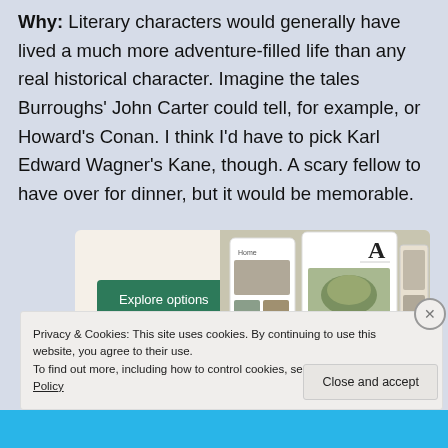Why: Literary characters would generally have lived a much more adventure-filled life than any real historical character. Imagine the tales Burroughs' John Carter could tell, for example, or Howard's Conan. I think I'd have to pick Karl Edward Wagner's Kane, though. A scary fellow to have over for dinner, but it would be memorable.
[Figure (screenshot): Advertisement banner with a green 'Explore options' button on a beige background, with app/website screenshots showing food imagery and a letter A logo on the right side.]
Privacy & Cookies: This site uses cookies. By continuing to use this website, you agree to their use.
To find out more, including how to control cookies, see here: Cookie Policy
Close and accept